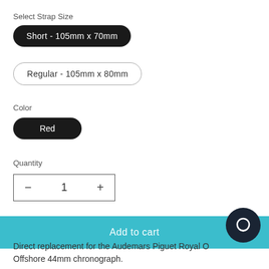Select Strap Size
Short - 105mm x 70mm
Regular - 105mm x 80mm
Color
Red
Quantity
[Figure (other): Quantity selector with minus, 1, plus controls in a bordered box]
[Figure (other): Add to cart teal button]
Direct replacement for the Audemars Piguet Royal Oak Offshore 44mm chronograph.